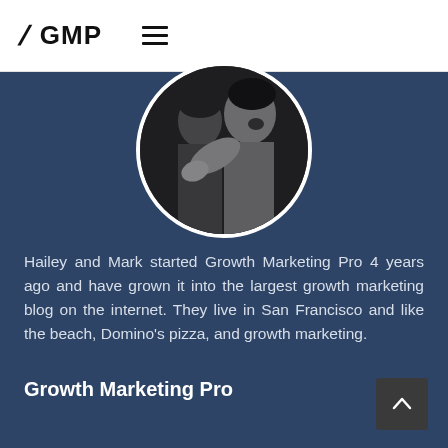/ GMP ≡
[Figure (photo): Black and white circular profile photo of two people, one pointing toward the camera]
Hailey and Mark started Growth Marketing Pro 4 years ago and have grown it into the largest growth marketing blog on the internet. They live in San Francisco and like the beach, Domino's pizza, and growth marketing.
Growth Marketing Pro
About Us
Consulting 🔽
Watch Our Movie 🔽